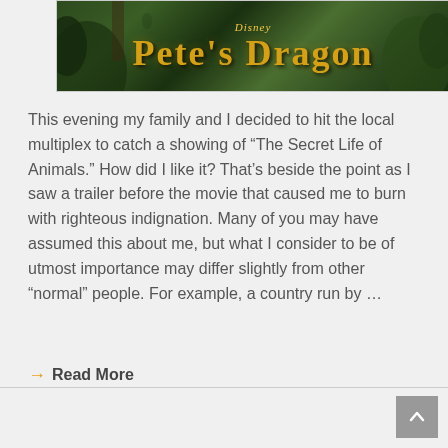[Figure (photo): Disney Pete's Dragon movie banner/logo on a forest background with large golden stylized text]
This evening my family and I decided to hit the local multiplex to catch a showing of “The Secret Life of Animals.” How did I like it? That’s beside the point as I saw a trailer before the movie that caused me to burn with righteous indignation. Many of you may have assumed this about me, but what I consider to be of utmost importance may differ slightly from other “normal” people. For example, a country run by …
Read More